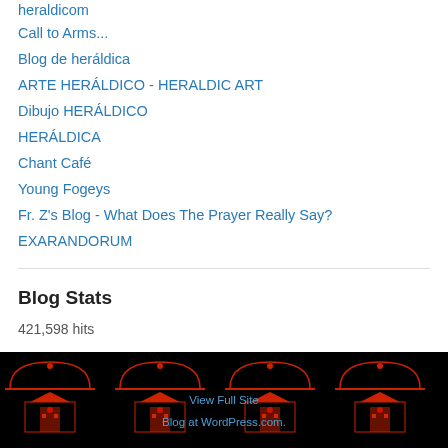heraldicom
Call to Arms...
Blog de heráldica
ARTE HERÁLDICO - HERALDIC ART
Dibujo HERÁLDICO
HERÁLDICA
Chant Café
Young Fogeys
Fr. Z's Blog - What Does The Prayer Really Say?
EXARANDORUM
Blog Stats
421,598 hits
View Full Site
Blog at WordPress.com.